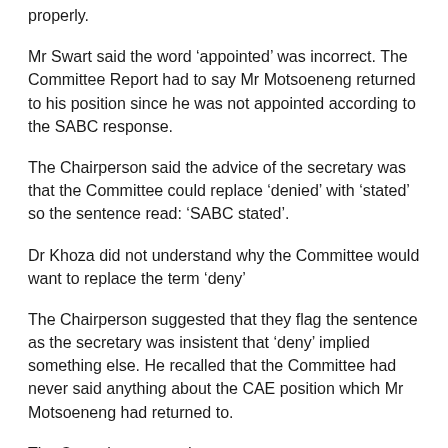properly.
Mr Swart said the word ‘appointed’ was incorrect. The Committee Report had to say Mr Motsoeneng returned to his position since he was not appointed according to the SABC response.
The Chairperson said the advice of the secretary was that the Committee could replace ‘denied’ with ‘stated’ so the sentence read: ‘SABC stated’.
Dr Khoza did not understand why the Committee would want to replace the term ‘deny’
The Chairperson suggested that they flag the sentence as the secretary was insistent that ‘deny’ implied something else. He recalled that the Committee had never said anything about the CAE position which Mr Motsoeneng had returned to.
The Committee agreed.
16.13 (3)